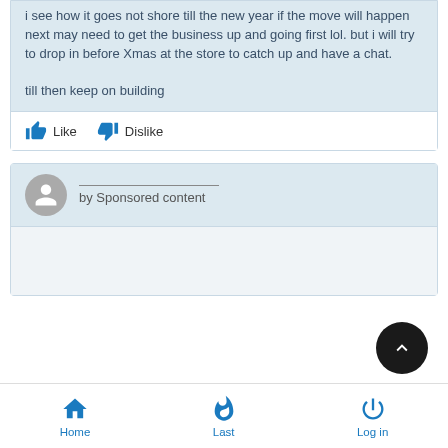i see how it goes not shore till the new year if the move will happen next may need to get the business up and going first lol. but i will try to drop in before Xmas at the store to catch up and have a chat.

till then keep on building
Like  Dislike
by Sponsored content
Home  Last  Log in